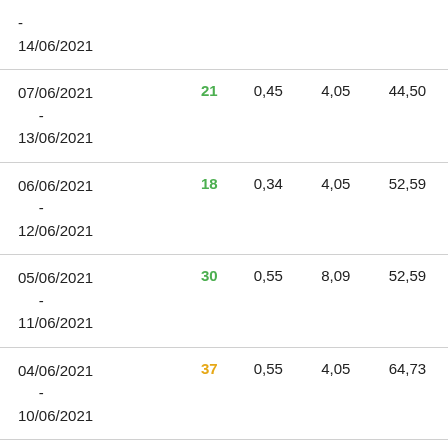| Date Range | Value1 | Value2 | Value3 | Value4 |
| --- | --- | --- | --- | --- |
| -
14/06/2021 |  |  |  |  |
| 07/06/2021
-
13/06/2021 | 21 | 0,45 | 4,05 | 44,50 |
| 06/06/2021
-
12/06/2021 | 18 | 0,34 | 4,05 | 52,59 |
| 05/06/2021
-
11/06/2021 | 30 | 0,55 | 8,09 | 52,59 |
| 04/06/2021
-
10/06/2021 | 37 | 0,55 | 4,05 | 64,73 |